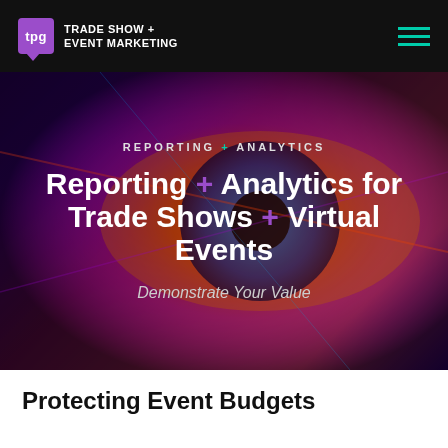tpg TRADE SHOW + EVENT MARKETING
[Figure (screenshot): Hero banner with close-up eye photo and colorful light effects overlay, dark purple and orange tones]
REPORTING + ANALYTICS
Reporting + Analytics for Trade Shows + Virtual Events
Demonstrate Your Value
Protecting Event Budgets